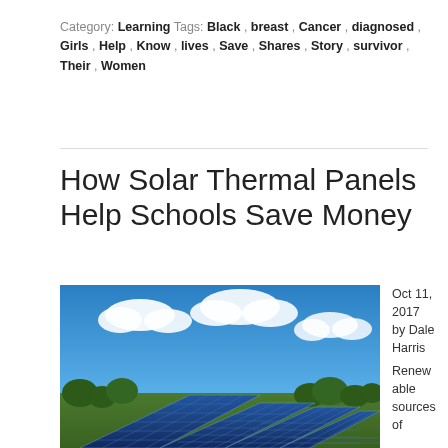Category: Learning Tags: Black , breast , Cancer , diagnosed , Girls , Help , Know , lives , Save , Shares , Story , survivor , Their , Women
How Solar Thermal Panels Help Schools Save Money
[Figure (photo): Solar panels in a field under a blue sky with white clouds and green trees in the background]
Oct 11, 2017 by Dale Harris Renewable sources of energy